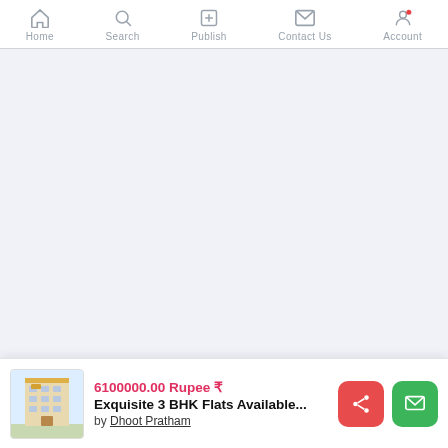Home | Search | Publish | Contact Us | Account
[Figure (screenshot): Light gray/blue empty main content area of a real estate mobile app]
6100000.00 Rupee ₹
Exquisite 3 BHK Flats Available...
by Dhoot Pratham